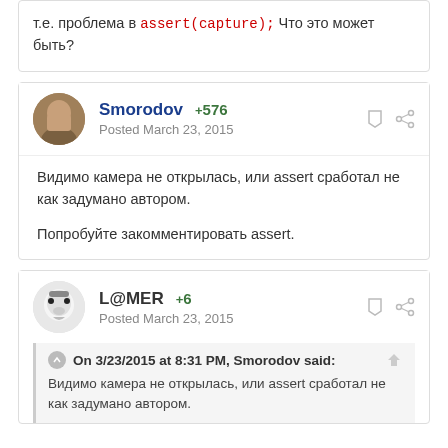т.е. проблема в assert(capture); Что это может быть?
Smorodov +576
Posted March 23, 2015
Видимо камера не открылась, или assert сработал не как задумано автором.

Попробуйте закомментировать assert.
L@MER +6
Posted March 23, 2015
On 3/23/2015 at 8:31 PM, Smorodov said:
Видимо камера не открылась, или assert сработал не как задумано автором.